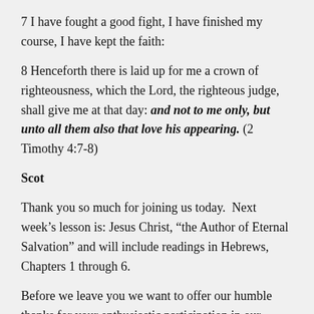7 I have fought a good fight, I have finished my course, I have kept the faith:
8 Henceforth there is laid up for me a crown of righteousness, which the Lord, the righteous judge, shall give me at that day: and not to me only, but unto all them also that love his appearing. (2 Timothy 4:7-8)
Scot
Thank you so much for joining us today.  Next week’s lesson is: Jesus Christ, “the Author of Eternal Salvation” and will include readings in Hebrews, Chapters 1 through 6.
Before we leave you we want to offer our humble thanks for your enthusiastic participation in our Meridian Cares campaign these past six weeks.